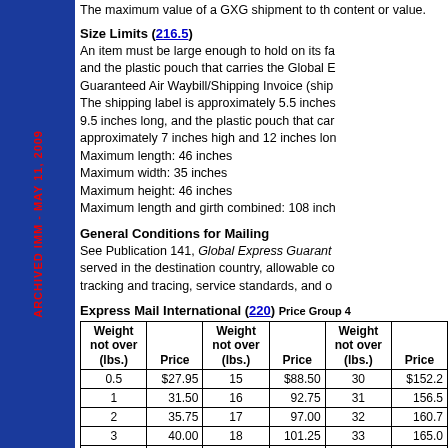The maximum value of a GXG shipment to this country or content or value.
Size Limits (216.5)
An item must be large enough to hold on its face and the plastic pouch that carries the Global Express Guaranteed Air Waybill/Shipping Invoice (shipping label). The shipping label is approximately 5.5 inches high and 9.5 inches long, and the plastic pouch that carries it is approximately 7 inches high and 12 inches long. Maximum length: 46 inches Maximum width: 35 inches Maximum height: 46 inches Maximum length and girth combined: 108 inches
General Conditions for Mailing
See Publication 141, Global Express Guaranteed, for countries served in the destination country, allowable contents, tracking and tracing, service standards, and other details.
Express Mail International (220) Price Group 4
| Weight not over (lbs.) | Price | Weight not over (lbs.) | Price | Weight not over (lbs.) | Price |
| --- | --- | --- | --- | --- | --- |
| 0.5 | $27.95 | 15 | $88.50 | 30 | $152.25 |
| 1 | 31.50 | 16 | 92.75 | 31 | 156.50 |
| 2 | 35.75 | 17 | 97.00 | 32 | 160.75 |
| 3 | 40.00 | 18 | 101.25 | 33 | 165.00 |
| 4 | 44.25 | 19 | 105.50 | 34 | 169.25 |
| 5 | 48.50 | 20 | 109.75 | 35 | 173.50 |